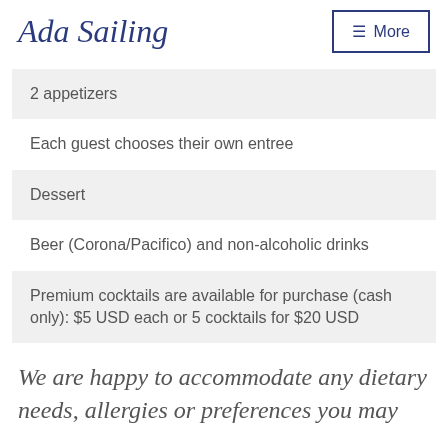Ada Sailing
2 appetizers
Each guest chooses their own entree
Dessert
Beer (Corona/Pacifico) and non-alcoholic drinks
Premium cocktails are available for purchase (cash only): $5 USD each or 5 cocktails for $20 USD
We are happy to accommodate any dietary needs, allergies or preferences you may